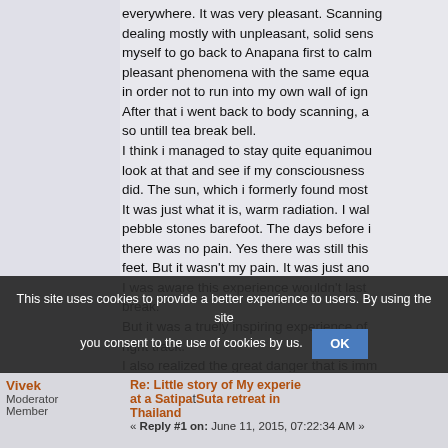everywhere. It was very pleasant. Scanning dealing mostly with unpleasant, solid sens myself to go back to Anapana first to calm pleasant phenomena with the same equa in order not to run into my own wall of ign After that i went back to body scanning, a so untill tea break bell. I think i managed to stay quite equanimou look at that and see if my consciousness did. The sun, which i formerly found most It was just what it is, warm radiation. I wal pebble stones barefoot. The days before i there was no pain. Yes there was still this feet. But it wasn't my pain. It was just ano I was aware this experience wouldn't last break. But it was a truely inspiring experience of right track. I also realized the great danger that is imm won't be easy not to crave for something l
This site uses cookies to provide a better experience to users. By using the site you consent to the use of cookies by us.
Vivek
Moderator
Member
Re: Little story of my experience at a Satipatthana Suta retreat in Thailand
« Reply #1 on: June 11, 2015, 07:22:34 AM »